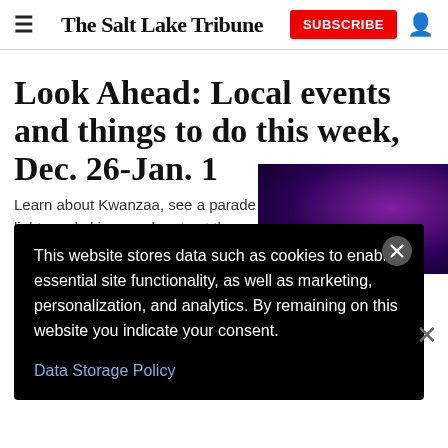The Salt Lake Tribune
Look Ahead: Local events and things to do this week, Dec. 26-Jan. 1
Learn about Kwanzaa, see a parade of lights and skiers, and party at the Gateway on New Year's Eve.
[Figure (photo): Night photo of purple/violet lights decorating a building or tree, dark background]
This website stores data such as cookies to enable essential site functionality, as well as marketing, personalization, and analytics. By remaining on this website you indicate your consent.
Data Storage Policy